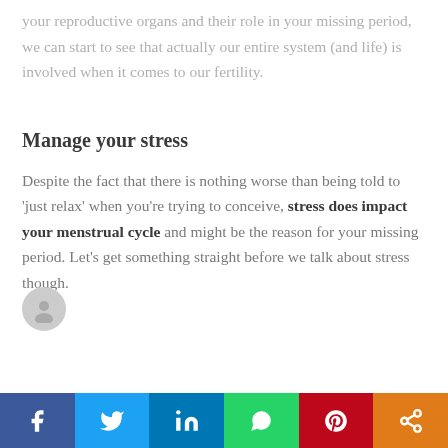your reproductive organs and their role in your missing period, we can start to see that actually our entire system (and life) is involved when it comes to our fertility.
Manage your stress
Despite the fact that there is nothing worse than being told to ‘just relax’ when you’re trying to conceive, stress does impact your menstrual cycle and might be the reason for your missing period. Let’s get something straight before we talk about stress though.
Facebook Twitter LinkedIn WhatsApp Pinterest Share